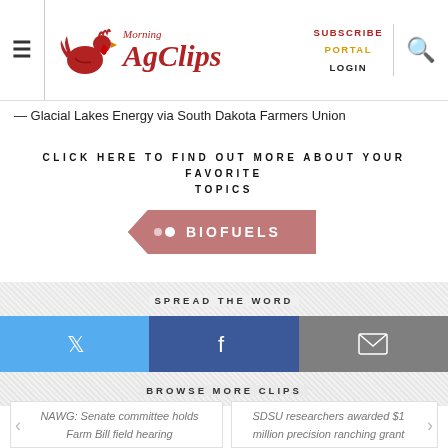Morning AgClips — SUBSCRIBE PORTAL LOGIN
— Glacial Lakes Energy via South Dakota Farmers Union
CLICK HERE TO FIND OUT MORE ABOUT YOUR FAVORITE TOPICS
[Figure (infographic): Biofuels tag/badge button in muted red with bullet point and text BIOFUELS]
SPREAD THE WORD
[Figure (infographic): Three social share buttons: Twitter (blue), Facebook (dark blue), Email (gray)]
BROWSE MORE CLIPS
NAWG: Senate committee holds Farm Bill field hearing
SDSU researchers awarded $1 million precision ranching grant